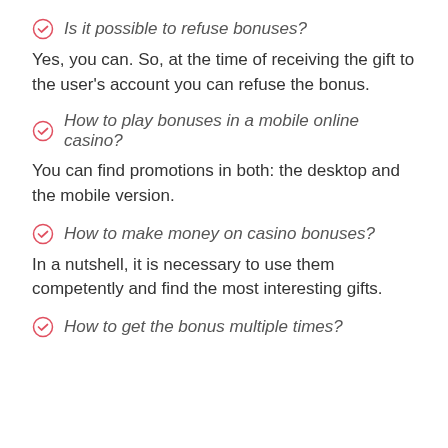Is it possible to refuse bonuses?
Yes, you can. So, at the time of receiving the gift to the user's account you can refuse the bonus.
How to play bonuses in a mobile online casino?
You can find promotions in both: the desktop and the mobile version.
How to make money on casino bonuses?
In a nutshell, it is necessary to use them competently and find the most interesting gifts.
How to get the bonus multiple times?